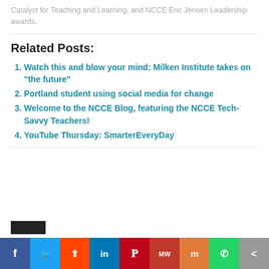Catalyst for Teaching and Learning, and NCCE Eric Jensen Leadership awards.
Related Posts:
Watch this and blow your mind: Milken Institute takes on “the future”
Portland student using social media for change
Welcome to the NCCE Blog, featuring the NCCE Tech-Savvy Teachers!
YouTube Thursday: SmarterEveryDay
[Figure (infographic): Social media share bar with icons for Facebook, Twitter, Reddit, LinkedIn, Pinterest, MeWe, Mix, WhatsApp, and a share/more button]